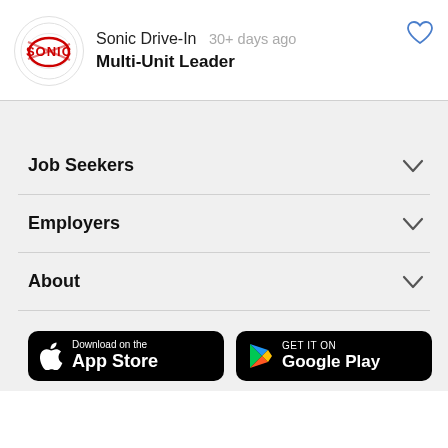[Figure (logo): Sonic Drive-In circular logo with red SONIC text and red/white lightning bolt design]
Sonic Drive-In   30+ days ago
Multi-Unit Leader
Job Seekers
Employers
About
[Figure (screenshot): Download on the App Store button (black)]
[Figure (screenshot): GET IT ON Google Play button (black)]